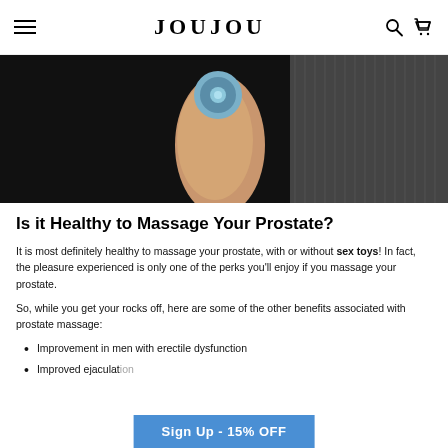JOUJOU
[Figure (photo): A hand holding a small rounded device against a dark background with a textured gray fabric visible on the right side.]
Is it Healthy to Massage Your Prostate?
It is most definitely healthy to massage your prostate, with or without sex toys! In fact, the pleasure experienced is only one of the perks you'll enjoy if you massage your prostate.
So, while you get your rocks off, here are some of the other benefits associated with prostate massage:
Improvement in men with erectile dysfunction
Improved ejaculat…
Sign Up - 15% OFF